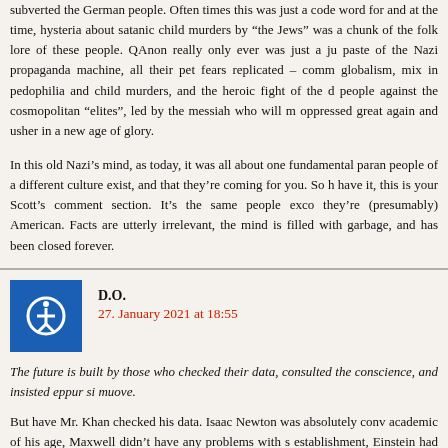subverted the German people. Often times this was just a code word for and at the time, hysteria about satanic child murders by "the Jews" was a chunk of the folk lore of these people. QAnon really only ever was just a ju paste of the Nazi propaganda machine, all their pet fears replicated – comm globalism, mix in pedophilia and child murders, and the heroic fight of the d people against the cosmopolitan "elites", led by the messiah who will m oppressed great again and usher in a new age of glory.
In this old Nazi's mind, as today, it was all about one fundamental paran people of a different culture exist, and that they're coming for you. So h have it, this is your Scott's comment section. It's the same people exco they're (presumably) American. Facts are utterly irrelevant, the mind is filled with garbage, and has been closed forever.
D.O.
27. January 2021 at 18:55
The future is built by those who checked their data, consulted the conscience, and insisted eppur si muove.
But have Mr. Khan checked his data. Isaac Newton was absolutely conv academic of his age, Maxwell didn't have any problems with s establishment, Einstein had some trouble from some quarters, but he ha supporters from the very beginning. The whole quantum mechanics re happened over strenuous objections of classically minded physicists, but was "honored" as far as I know. On the other hand, there are lot...